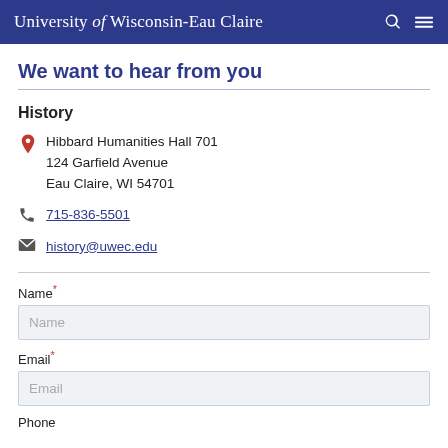University of Wisconsin-Eau Claire
We want to hear from you
History
Hibbard Humanities Hall 701
124 Garfield Avenue
Eau Claire, WI 54701
715-836-5501
history@uwec.edu
Name (required)
Email (required)
Phone